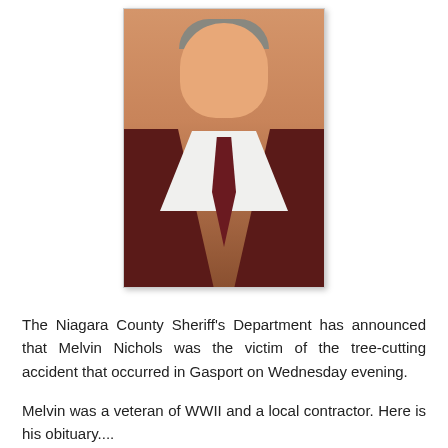[Figure (photo): Portrait photograph of Melvin Nichols, an older man with grey hair, smiling, wearing a dark suit jacket, white dress shirt, and dark tie with small pattern. Orange/warm background.]
The Niagara County Sheriff's Department has announced that Melvin Nichols was the victim of the tree-cutting accident that occurred in Gasport on Wednesday evening.
Melvin was a veteran of WWII and a local contractor. Here is his obituary....